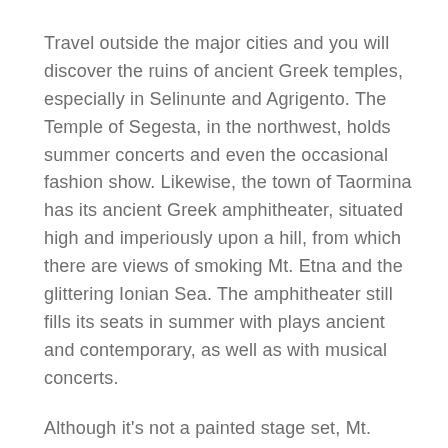Travel outside the major cities and you will discover the ruins of ancient Greek temples, especially in Selinunte and Agrigento. The Temple of Segesta, in the northwest, holds summer concerts and even the occasional fashion show. Likewise, the town of Taormina has its ancient Greek amphitheater, situated high and imperiously upon a hill, from which there are views of smoking Mt. Etna and the glittering Ionian Sea. The amphitheater still fills its seats in summer with plays ancient and contemporary, as well as with musical concerts.
Although it's not a painted stage set, Mt. Etna, one of Europe's most active volcanos, provides the spectacular backdrop for one of Sicily's most popular vacation destinations, the town of Taormina. Despite its many micro climates that can